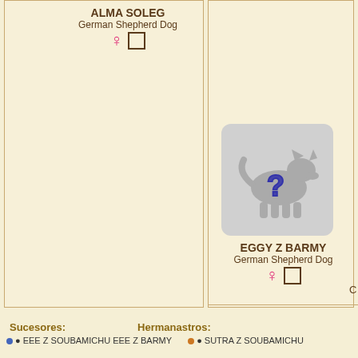[Figure (organizational-chart): Pedigree chart showing dog ancestry. Left column shows ALMA SOLEG (German Shepherd Dog, female). Right column shows EGGY Z BARMY (German Shepherd Dog, female) with a placeholder dog silhouette with question mark. Far right column is partially visible.]
ALMA SOLEG
German Shepherd Dog
♀ □
EGGY Z BARMY
German Shepherd Dog
♀ □
Sucesores:
Hermanastros: